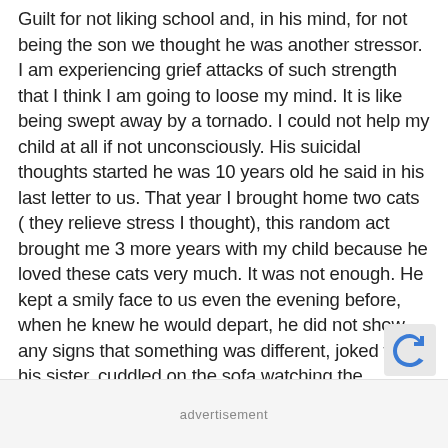Guilt for not liking school and, in his mind, for not being the son we thought he was another stressor. I am experiencing grief attacks of such strength that I think I am going to loose my mind. It is like being swept away by a tornado. I could not help my child at all if not unconsciously. His suicidal thoughts started he was 10 years old he said in his last letter to us. That year I brought home two cats ( they relieve stress I thought), this random act brought me 3 more years with my child because he loved these cats very much. It was not enough. He kept a smily face to us even the evening before, when he knew he would depart, he did not show any signs that something was different, joked with his sister, cuddled on the sofa watching the evening movie with us, ordered tortellini for dinner for the next day. During the night he got out, rod his bike for a couple of miles to a 100 feet high bridge a
advertisement